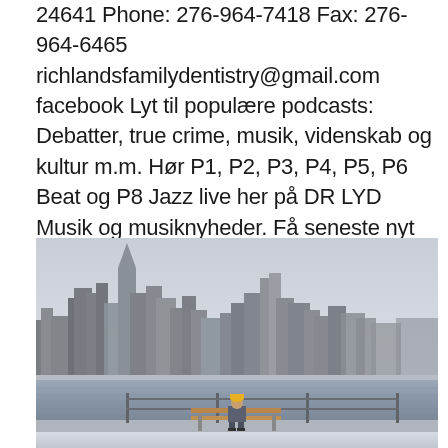24641 Phone: 276-964-7418 Fax: 276-964-6465 richlandsfamilydentistry@gmail.com facebook Lyt til populære podcasts: Debatter, true crime, musik, videnskab og kultur m.m. Hør P1, P2, P3, P4, P5, P6 Beat og P8 Jazz live her på DR LYD Musik og musiknyheder. Få seneste nyt om danske og udenlandske kunstnere.
[Figure (photo): A person sitting on a bench looking at a city skyline across the water, with snow on the ground. The skyline appears to be Manhattan viewed from Brooklyn or New Jersey.]